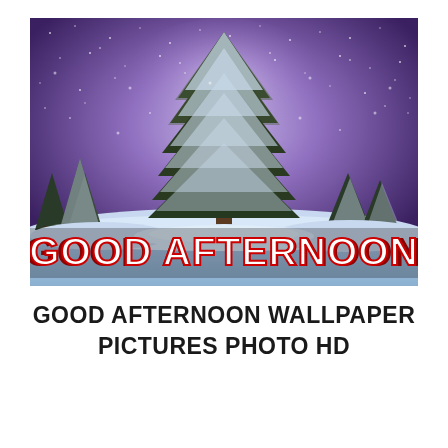[Figure (photo): A winter Christmas scene with a large snow-covered evergreen tree in the center against a purple starry night sky. Smaller snow-covered trees are visible in the background. Bold text overlay at the bottom reads 'GOOD AFTERNOON' in large red and white capital letters.]
GOOD AFTERNOON WALLPAPER PICTURES PHOTO HD